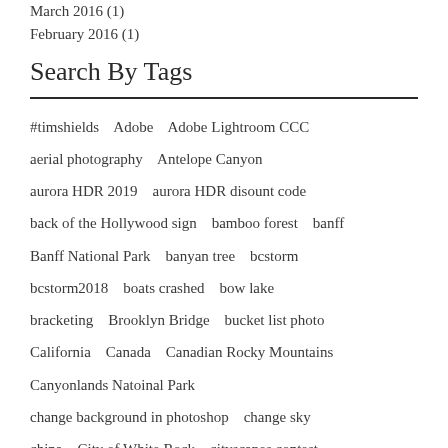March 2016 (1)
February 2016 (1)
Search By Tags
#timshields   Adobe   Adobe Lightroom CCC   aerial photography   Antelope Canyon   aurora HDR 2019   aurora HDR disount code   back of the Hollywood sign   bamboo forest   banff   Banff National Park   banyan tree   bcstorm   bcstorm2018   boats crashed   bow lake   bracketing   Brooklyn Bridge   bucket list photo   California   Canada   Canadian Rocky Mountains   Canyonlands Natoinal Park   change background in photoshop   change sky   china   City of White Rock   cityscapes contest